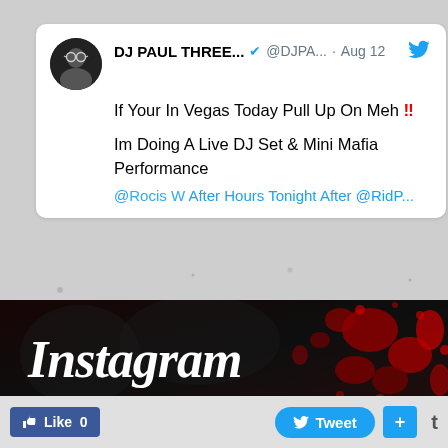[Figure (screenshot): Tweet from DJ PAUL THREE... @DJPA... · Aug 12 — 'If Your In Vegas Today Pull Up On Meh!! Im Doing A Live DJ Set & Mini Mafia Performance @... After Hours Tonight After @Rid...']
[Figure (illustration): Instagram banner — dark background with red paint splatter, white bold italic text reading 'Instagram']
[Figure (screenshot): Social sharing bar at bottom with Like 0 button (Facebook blue), Tweet button (Twitter blue), + button (blue), and t icon]